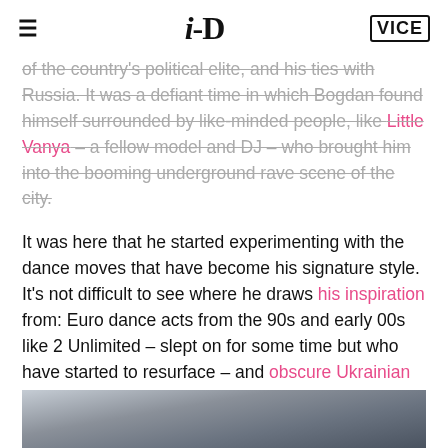≡  i-D  VICE
of the country's political elite, and his ties with Russia. It was a defiant time in which Bogdan found himself surrounded by like-minded people, like Little Vanya – a fellow model and DJ – who brought him into the booming underground rave scene of the city.
It was here that he started experimenting with the dance moves that have become his signature style. It's not difficult to see where he draws his inspiration from: Euro dance acts from the 90s and early 00s like 2 Unlimited – slept on for some time but who have started to resurface – and obscure Ukrainian acts that share a fondness for VHS aesthetics.
[Figure (photo): Bottom strip showing partial photo, cropped — appears to show denim fabric or person seated]